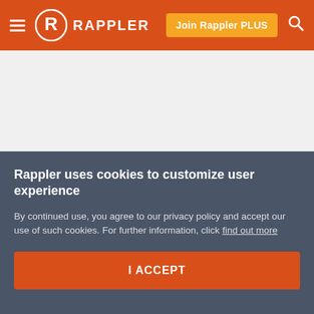Rappler
[Figure (other): Advertisement placeholder area, light gray background]
China accuses UK of 'gross interference' over Hong Kong
Jul 07, 2020 - 9:14 AM
Rappler uses cookies to customize user experience
By continued use, you agree to our privacy policy and accept our use of such cookies. For further information, click find out more
I ACCEPT